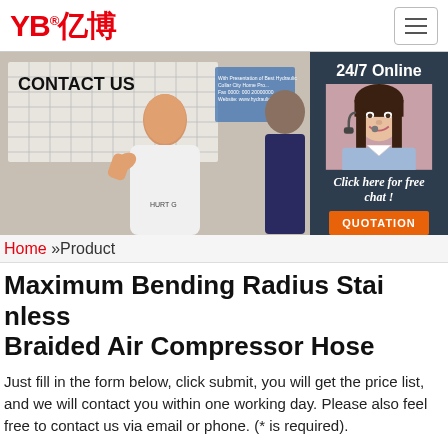[Figure (logo): YB亿博 logo in red text]
[Figure (photo): Trade show banner saying CONTACT US with a smiling bald man giving thumbs up, and a 24/7 Online customer service panel with a woman wearing a headset]
Home »Product
Maximum Bending Radius Stainless Braided Air Compressor Hose
Just fill in the form below, click submit, you will get the price list, and we will contact you within one working day. Please also feel free to contact us via email or phone. (* is required).